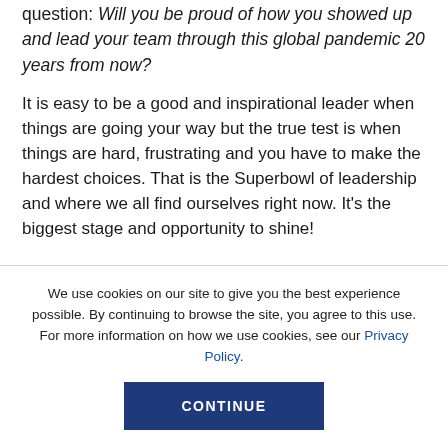question: Will you be proud of how you showed up and lead your team through this global pandemic 20 years from now?
It is easy to be a good and inspirational leader when things are going your way but the true test is when things are hard, frustrating and you have to make the hardest choices. That is the Superbowl of leadership and where we all find ourselves right now. It’s the biggest stage and opportunity to shine!
We use cookies on our site to give you the best experience possible. By continuing to browse the site, you agree to this use. For more information on how we use cookies, see our Privacy Policy.
CONTINUE